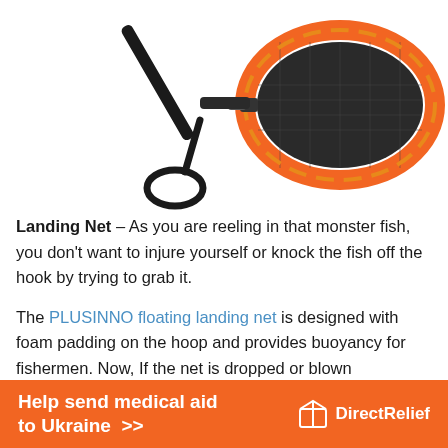[Figure (photo): A fishing landing net shown from two angles: the handle/strap visible on the left side, and the full net head with orange foam-padded hoop and black rubber mesh on the right side.]
Landing Net – As you are reeling in that monster fish, you don't want to injure yourself or knock the fish off the hook by trying to grab it.
The PLUSINNO floating landing net is designed with foam padding on the hoop and provides buoyancy for fishermen. Now, If the net is dropped or blown overboard, the floating design makes it simple to retrieve – so you won't have to be concerned about losing it! The rubberized net cannot be snagged. It keeps the fish safe for catch-and-release, and the non-
[Figure (infographic): Orange advertisement banner reading 'Help send medical aid to Ukraine >>' with the Direct Relief logo on the right.]